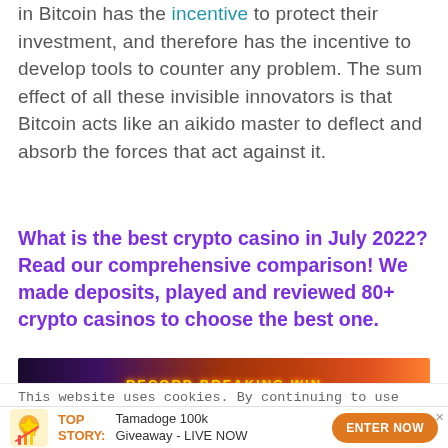in Bitcoin has the incentive to protect their investment, and therefore has the incentive to develop tools to counter any problem. The sum effect of all these invisible innovators is that Bitcoin acts like an aikido master to deflect and absorb the forces that act against it.
What is the best crypto casino in July 2022? Read our comprehensive comparison! We made deposits, played and reviewed 80+ crypto casinos to choose the best one.
[Figure (screenshot): Advertisement banner with dark background showing 'RECORD BREAKING WIN' text with colorful graphics]
This website uses cookies. By continuing to use this website
TOP STORY: Tamadoge 100k Giveaway - LIVE NOW  ENTER NOW